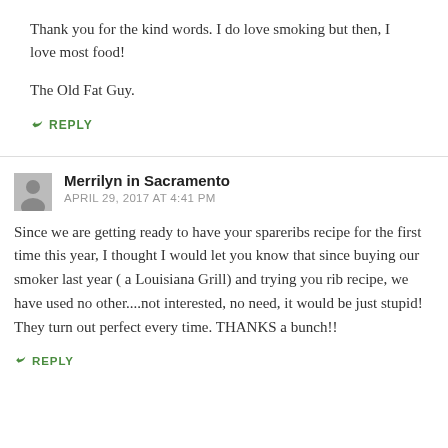Thank you for the kind words. I do love smoking but then, I love most food!
The Old Fat Guy.
↳ REPLY
Merrilyn in Sacramento
APRIL 29, 2017 AT 4:41 PM
Since we are getting ready to have your spareribs recipe for the first time this year, I thought I would let you know that since buying our smoker last year ( a Louisiana Grill) and trying you rib recipe, we have used no other....not interested, no need, it would be just stupid! They turn out perfect every time. THANKS a bunch!!
↳ REPLY